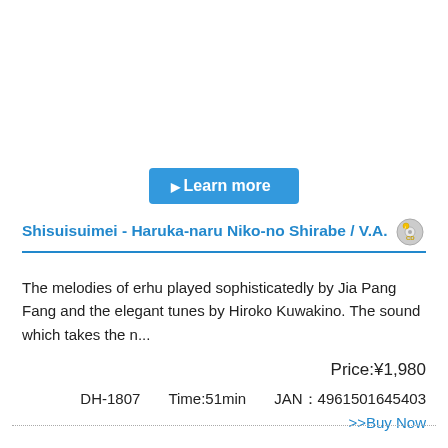[Figure (other): Learn more button - blue rounded rectangle button with play triangle icon and white text 'Learn more']
Shisuisuimei - Haruka-naru Niko-no Shirabe / V.A.
The melodies of erhu played sophisticatedly by Jia Pang Fang and the elegant tunes by Hiroko Kuwakino. The sound which takes the n...
Price:¥1,980
DH-1807    Time:51min    JAN：4961501645403
>>Buy Now